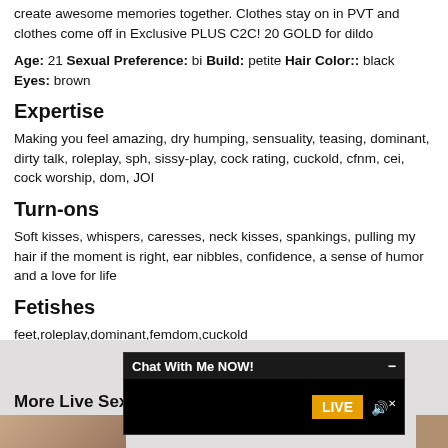create awesome memories together. Clothes stay on in PVT and clothes come off in Exclusive PLUS C2C! 20 GOLD for dildo
Age: 21 Sexual Preference: bi Build: petite Hair Color:: black Eyes: brown
Expertise
Making you feel amazing, dry humping, sensuality, teasing, dominant, dirty talk, roleplay, sph, sissy-play, cock rating, cuckold, cfnm, cei, cock worship, dom, JOI
Turn-ons
Soft kisses, whispers, caresses, neck kisses, spankings, pulling my hair if the moment is right, ear nibbles, confidence, a sense of humor and a love for life
Fetishes
feet,roleplay,dominant,femdom,cuckold
More Live Sex
[Figure (screenshot): Chat With Me NOW! overlay with LIVE button and speaker icon on dark background]